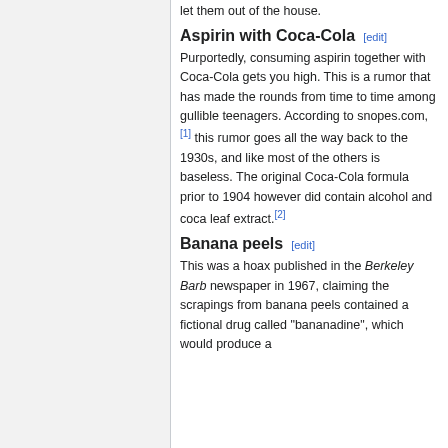let them out of the house.
Aspirin with Coca-Cola [edit]
Purportedly, consuming aspirin together with Coca-Cola gets you high. This is a rumor that has made the rounds from time to time among gullible teenagers. According to snopes.com,[1] this rumor goes all the way back to the 1930s, and like most of the others is baseless. The original Coca-Cola formula prior to 1904 however did contain alcohol and coca leaf extract.[2]
Banana peels [edit]
This was a hoax published in the Berkeley Barb newspaper in 1967, claiming the scrapings from banana peels contained a fictional drug called "bananadine", which would produce a